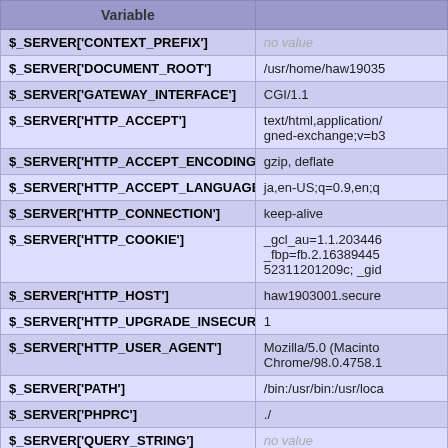| Variable |  |
| --- | --- |
| $_SERVER['CONTEXT_PREFIX'] | no value |
| $_SERVER['DOCUMENT_ROOT'] | /usr/home/haw19035 |
| $_SERVER['GATEWAY_INTERFACE'] | CGI/1.1 |
| $_SERVER['HTTP_ACCEPT'] | text/html,application/
gned-exchange;v=b3 |
| $_SERVER['HTTP_ACCEPT_ENCODING'] | gzip, deflate |
| $_SERVER['HTTP_ACCEPT_LANGUAGE'] | ja,en-US;q=0.9,en;q |
| $_SERVER['HTTP_CONNECTION'] | keep-alive |
| $_SERVER['HTTP_COOKIE'] | _gcl_au=1.1.203446
_fbp=fb.2.16389445
52311201209c; _gid |
| $_SERVER['HTTP_HOST'] | haw1903001.secure |
| $_SERVER['HTTP_UPGRADE_INSECURE_REQUESTS'] | 1 |
| $_SERVER['HTTP_USER_AGENT'] | Mozilla/5.0 (Macinto
Chrome/98.0.4758.1 |
| $_SERVER['PATH'] | /bin:/usr/bin:/usr/loca |
| $_SERVER['PHPRC'] | ./ |
| $_SERVER['QUERY_STRING'] | no value |
| $_SERVER['REDIRECT_STATUS'] | 200 |
| $_SERVER['REMOTE_ADDR'] | 210.170.186.38 |